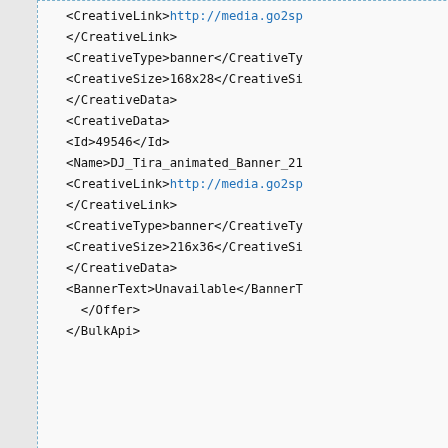XML code block showing CreativeLink, CreativeType, CreativeSize, CreativeData, Id, Name, BannerText, Offer, BulkApi tags
Privacy policy   About wiki.taptica.com   Disclaimers